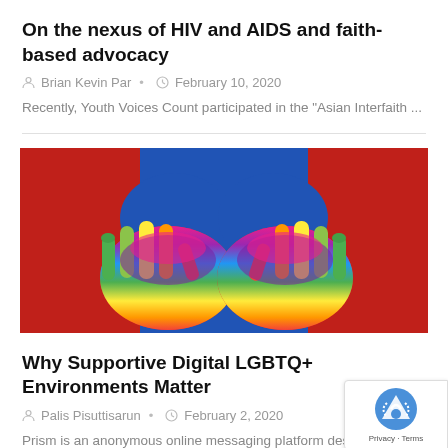On the nexus of HIV and AIDS and faith-based advocacy
Brian Kevin Par • February 10, 2020
Recently, Youth Voices Count participated in the "Asian Interfaith ...
[Figure (photo): Two hands with palms facing up, painted in rainbow LGBTQ+ pride colors (red, orange, yellow, green, blue, purple) against a blue shirt and red background.]
Why Supportive Digital LGBTQ+ Environments Matter
Palis Pisuttisarun • February 2, 2020
Prism is an anonymous online messaging platform desig...